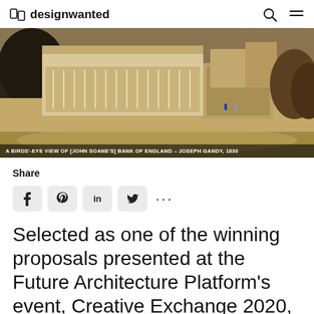designwanted
[Figure (illustration): Bird's-eye view painting of John Soane's Bank of England by Joseph Gandy, 1830 — aerial perspective of a large neoclassical building complex]
A BIRDS'-EYE VIEW OF [JOHN SOANE'S] BANK OF ENGLAND – JOSEPH GANDY, 1830
Share
Selected as one of the winning proposals presented at the Future Architecture Platform's event, Creative Exchange 2020, writer and